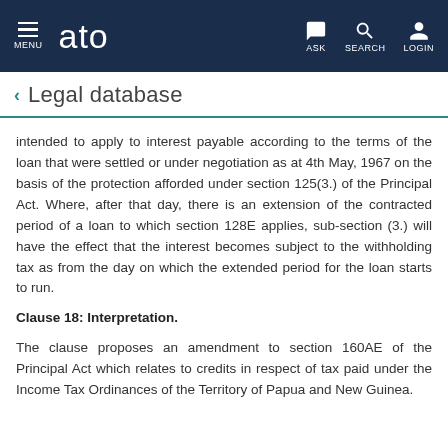MENU  ato  ASK  SEARCH  LOGIN
Legal database
intended to apply to interest payable according to the terms of the loan that were settled or under negotiation as at 4th May, 1967 on the basis of the protection afforded under section 125(3.) of the Principal Act. Where, after that day, there is an extension of the contracted period of a loan to which section 128E applies, sub-section (3.) will have the effect that the interest becomes subject to the withholding tax as from the day on which the extended period for the loan starts to run.
Clause 18: Interpretation.
The clause proposes an amendment to section 160AE of the Principal Act which relates to credits in respect of tax paid under the Income Tax Ordinances of the Territory of Papua and New Guinea.